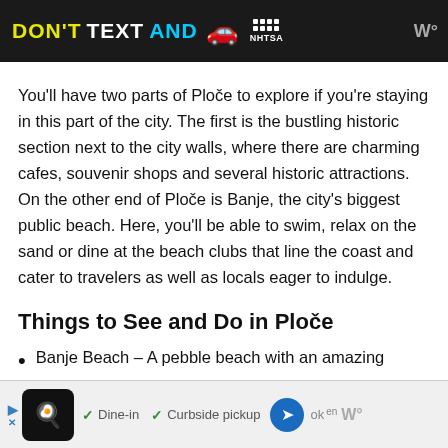[Figure (other): Advertisement banner: DON'T TEXT AND [car emoji] NHTSA logo on dark background with Waze icon]
You'll have two parts of Ploče to explore if you're staying in this part of the city. The first is the bustling historic section next to the city walls, where there are charming cafes, souvenir shops and several historic attractions. On the other end of Ploče is Banje, the city's biggest public beach. Here, you'll be able to swim, relax on the sand or dine at the beach clubs that line the coast and cater to travelers as well as locals eager to indulge.
Things to See and Do in Ploče
Banje Beach – A pebble beach with an amazing
[Figure (other): Advertisement banner at bottom: restaurant icon, Dine-in, Curbside pickup, navigation arrow, partial text 'ok', Waze icon]